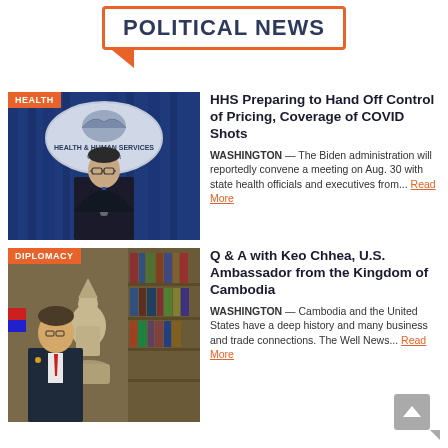POLITICAL NEWS
[Figure (photo): HHS Health & Human Services sign with official at podium against blue curtain backdrop]
HEALTH
HHS Preparing to Hand Off Control of Pricing, Coverage of COVID Shots
WASHINGTON — The Biden administration will reportedly convene a meeting on Aug. 30 with state health officials and executives from... Read More
[Figure (photo): U.S. Ambassador Keo Chhea from Cambodia standing with Khmer stone statue in a library setting]
DIPLOMACY
Q & A with Keo Chhea, U.S. Ambassador from the Kingdom of Cambodia
WASHINGTON — Cambodia and the United States have a deep history and many business and trade connections. The Well News... Read More